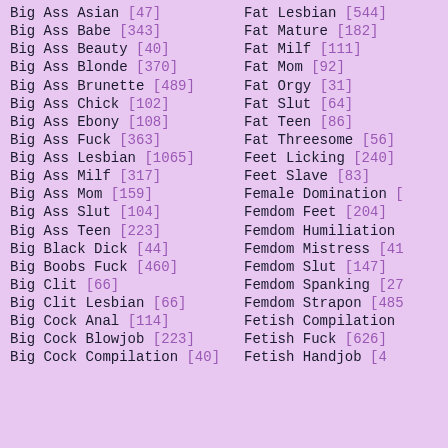Big Ass Asian [47]
Big Ass Babe [343]
Big Ass Beauty [40]
Big Ass Blonde [370]
Big Ass Brunette [489]
Big Ass Chick [102]
Big Ass Ebony [108]
Big Ass Fuck [363]
Big Ass Lesbian [1065]
Big Ass Milf [317]
Big Ass Mom [159]
Big Ass Slut [104]
Big Ass Teen [223]
Big Black Dick [44]
Big Boobs Fuck [460]
Big Clit [66]
Big Clit Lesbian [66]
Big Cock Anal [114]
Big Cock Blowjob [223]
Big Cock Compilation [40]
Fat Lesbian [544]
Fat Mature [182]
Fat Milf [111]
Fat Mom [92]
Fat Orgy [31]
Fat Slut [64]
Fat Teen [86]
Fat Threesome [56]
Feet Licking [240]
Feet Slave [83]
Female Domination [...]
Femdom Feet [204]
Femdom Humiliation [...]
Femdom Mistress [41...]
Femdom Slut [147]
Femdom Spanking [278]
Femdom Strapon [485]
Fetish Compilation [...]
Fetish Fuck [626]
Fetish Handjob [46...]